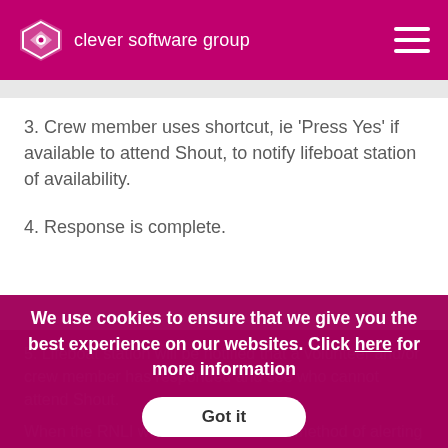clever software group
3. Crew member uses shortcut, ie ‘Press Yes’ if available to attend Shout, to notify lifeboat station of availability.
4. Response is complete.
5. Lifeboat station will be notified that a volunteer and/or crew member has responded and see who cannot attend Shout.
When the RNLI was first founded, the method of alerting crews to a Shout would be to traditionally set off a flare. In today’s society
We use cookies to ensure that we give you the best experience on our websites. Click here for more information
Got it